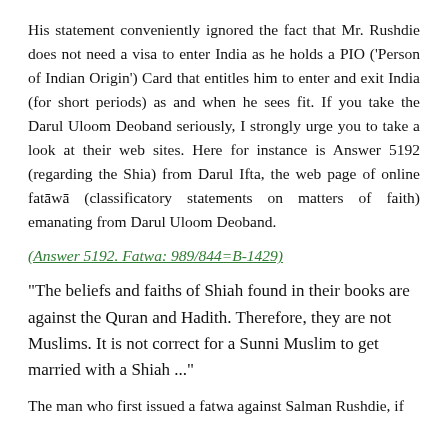His statement conveniently ignored the fact that Mr. Rushdie does not need a visa to enter India as he holds a PIO ('Person of Indian Origin') Card that entitles him to enter and exit India (for short periods) as and when he sees fit. If you take the Darul Uloom Deoband seriously, I strongly urge you to take a look at their web sites. Here for instance is Answer 5192 (regarding the Shia) from Darul Ifta, the web page of online fatāwā (classificatory statements on matters of faith) emanating from Darul Uloom Deoband.
(Answer 5192. Fatwa: 989/844=B-1429)
“The beliefs and faiths of Shiah found in their books are against the Quran and Hadith. Therefore, they are not Muslims. It is not correct for a Sunni Muslim to get married with a Shiah ...”
The man who first issued a fatwa against Salman Rushdie, if